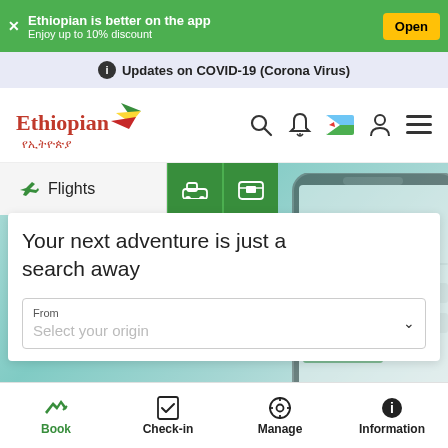Ethiopian is better on the app. Enjoy up to 10% discount. Open
Updates on COVID-19 (Corona Virus)
[Figure (logo): Ethiopian Airlines logo with red text and Amharic subtitle, with green/yellow/red bird wing icon]
[Figure (screenshot): Ethiopian Airlines mobile app homepage showing Flights, Car, and Hotel booking tabs with search form 'Your next adventure is just a search away' and From/Select your origin field, with phone mockup overlay]
Book | Check-in | Manage | Information